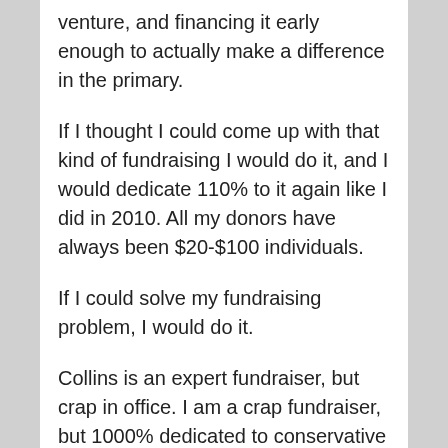venture, and financing it early enough to actually make a difference in the primary.
If I thought I could come up with that kind of fundraising I would do it, and I would dedicate 110% to it again like I did in 2010. All my donors have always been $20-$100 individuals.
If I could solve my fundraising problem, I would do it.
Collins is an expert fundraiser, but crap in office. I am a crap fundraiser, but 1000% dedicated to conservative Constitutional principles in office.